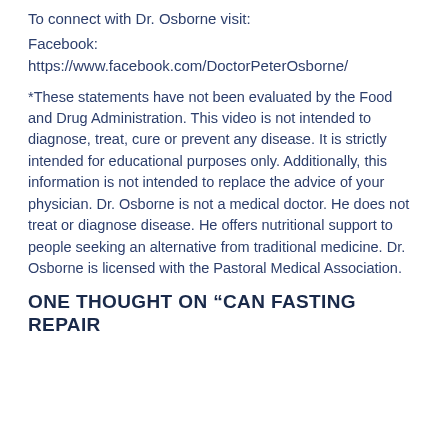To connect with Dr. Osborne visit:
Facebook:
https://www.facebook.com/DoctorPeterOsborne/
*These statements have not been evaluated by the Food and Drug Administration. This video is not intended to diagnose, treat, cure or prevent any disease. It is strictly intended for educational purposes only. Additionally, this information is not intended to replace the advice of your physician. Dr. Osborne is not a medical doctor. He does not treat or diagnose disease. He offers nutritional support to people seeking an alternative from traditional medicine. Dr. Osborne is licensed with the Pastoral Medical Association.
ONE THOUGHT ON “CAN FASTING REPAIR